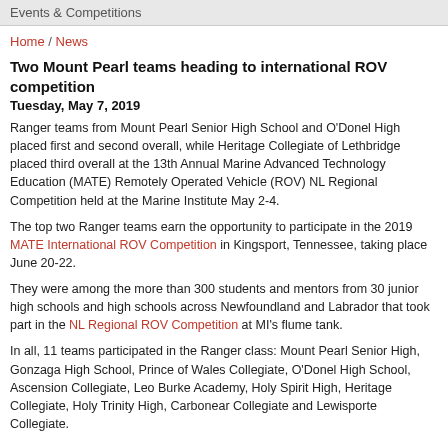Events & Competitions
Home / News
Two Mount Pearl teams heading to international ROV competition
Tuesday, May 7, 2019
Ranger teams from Mount Pearl Senior High School and O'Donel High placed first and second overall, while Heritage Collegiate of Lethbridge placed third overall at the 13th Annual Marine Advanced Technology Education (MATE) Remotely Operated Vehicle (ROV) NL Regional Competition held at the Marine Institute May 2-4.
The top two Ranger teams earn the opportunity to participate in the 2019 MATE International ROV Competition in Kingsport, Tennessee, taking place June 20-22.
They were among the more than 300 students and mentors from 30 junior high schools and high schools across Newfoundland and Labrador that took part in the NL Regional ROV Competition at MI's flume tank.
In all, 11 teams participated in the Ranger class: Mount Pearl Senior High, Gonzaga High School, Prince of Wales Collegiate, O'Donel High School, Ascension Collegiate, Leo Burke Academy, Holy Spirit High, Heritage Collegiate, Holy Trinity High, Carbonear Collegiate and Lewisporte Collegiate.